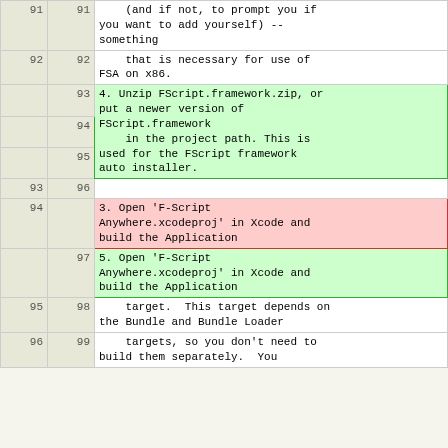| old | new | content |
| --- | --- | --- |
| 91 | 91 | (and if not, to prompt you if you want to add yourself) --
something |
| 92 | 92 |     that is necessary for use of
FSA on x86. |
|  | 93 |  |
|  | 94 | 4. Unzip FScript.framework.zip, or
put a newer version of
FScript.framework |
|  | 95 |     in the project path. This is
used for the FScript framework
auto installer. |
| 93 | 96 |  |
| 94 |  | 3. Open 'F-Script
Anywhere.xcodeproj' in Xcode and
build the Application |
|  | 97 | 5. Open 'F-Script
Anywhere.xcodeproj' in Xcode and
build the Application |
| 95 | 98 |     target.  This target depends on
the Bundle and Bundle Loader |
| 96 | 99 |     targets, so you don't need to
build them separately.  You |